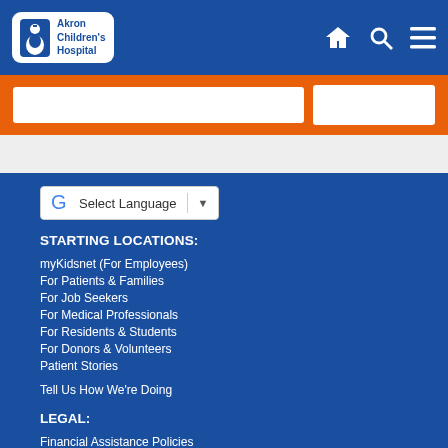Akron Children's Hospital
[Figure (logo): Akron Children's Hospital logo with white rounded square background, stylized child figure icon, and text 'Akron Children's Hospital']
[Figure (infographic): Orange search bar section with white input field and search button]
STARTING LOCATIONS:
myKidsnet (For Employees)
For Patients & Families
For Job Seekers
For Medical Professionals
For Residents & Students
For Donors & Volunteers
Patient Stories
Tell Us How We're Doing
LEGAL:
Financial Assistance Policies
Nondiscrimination Notice